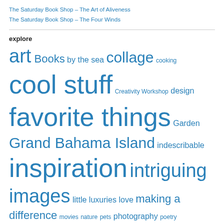The Saturday Book Shop – The Art of Aliveness
The Saturday Book Shop – The Four Winds
explore
art Books by the sea collage cooking cool stuff Creativity Workshop design favorite things Garden Grand Bahama Island indescribable inspiration intriguing images little luxuries love making a difference movies nature pets photography poetry